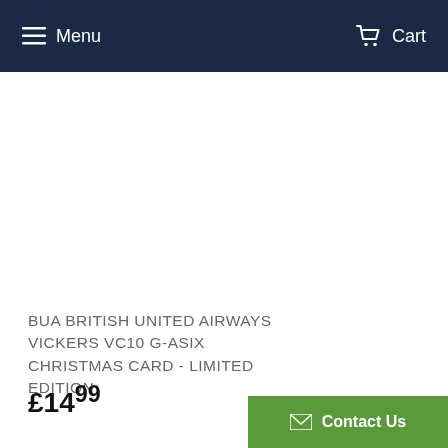Menu  Cart
BUA BRITISH UNITED AIRWAYS VICKERS VC10 G-ASIX CHRISTMAS CARD - LIMITED EDITION
£14.99
Contact Us